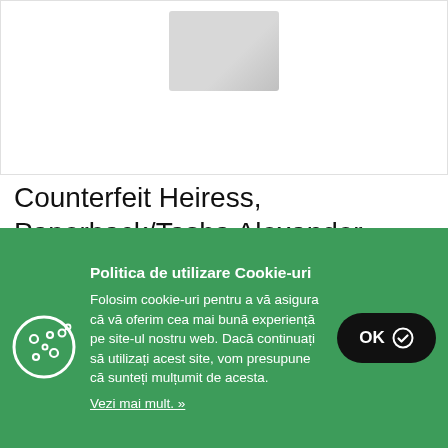[Figure (photo): Product image of a book (Counterfeit Heiress, Paperback by Tasha Alexander) shown against a white background]
Counterfeit Heiress, Paperback/Tasha Alexander
No conditions of the author, content in...
Politica de utilizare Cookie-uri
Folosim cookie-uri pentru a vă asigura că vă oferim cea mai bună experiență pe site-ul nostru web. Dacă continuați să utilizați acest site, vom presupune că sunteți mulțumit de acesta.
Vezi mai mult. »